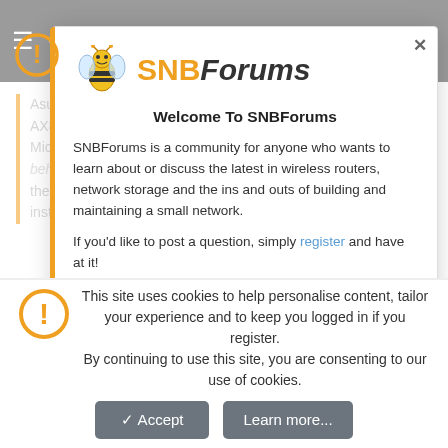[Figure (screenshot): SNBForums website screenshot with navigation bar showing hamburger menu, login, register button, and icons at top. Background shows forum post text about Asus AX88U in AP mode. A modal dialog overlays the page with SNBForums logo (bee mascot), welcome message, and community description. Bottom shows cookie consent bar with warning icon, consent text, and Accept/Learn more buttons.]
Welcome To SNBForums
SNBForums is a community for anyone who wants to learn about or discuss the latest in wireless routers, network storage and the ins and outs of building and maintaining a small network.
If you'd like to post a question, simply register and have at it!
While you're at it, please check out SmallNetBuilder for product reviews and our famous Router Charts, Ranker and plenty more!
This site uses cookies to help personalise content, tailor your experience and to keep you logged in if you register.
By continuing to use this site, you are consenting to our use of cookies.